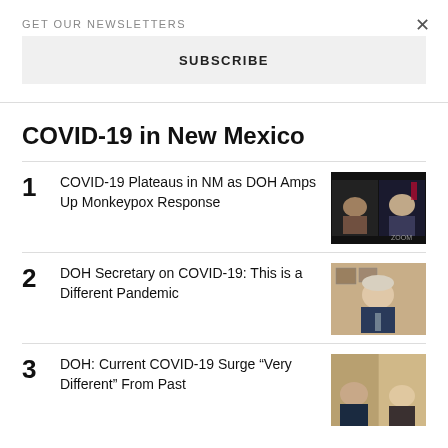GET OUR NEWSLETTERS
SUBSCRIBE
COVID-19 in New Mexico
1 COVID-19 Plateaus in NM as DOH Amps Up Monkeypox Response
2 DOH Secretary on COVID-19: This is a Different Pandemic
3 DOH: Current COVID-19 Surge “Very Different” From Past